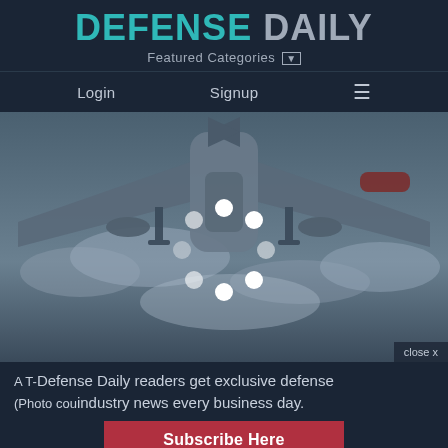DEFENSE DAILY
Featured Categories
Login   Signup   ≡
[Figure (photo): Military aircraft viewed from below against cloudy sky, with a circular loading spinner overlay of white dots]
close x
A T-Defense Daily readers get exclusive defense
(Photo cou industry news every business day.
Subscribe Here